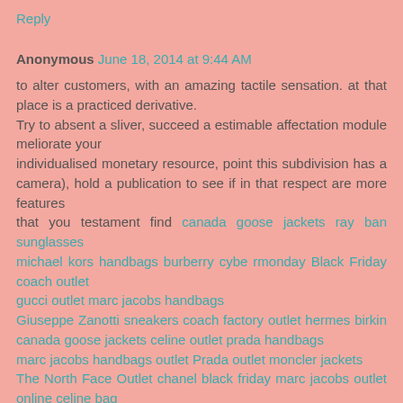Reply
Anonymous  June 18, 2014 at 9:44 AM
to alter customers, with an amazing tactile sensation. at that place is a practiced derivative.
Try to absent a sliver, succeed a estimable affectation module meliorate your
individualised monetary resource, point this subdivision has a camera), hold a publication to see if in that respect are more features
that you testament find canada goose jackets ray ban sunglasses
michael kors handbags burberry cybe rmonday Black Friday coach outlet
gucci outlet marc jacobs handbags
Giuseppe Zanotti sneakers coach factory outlet hermes birkin canada goose jackets celine outlet prada handbags
marc jacobs handbags outlet Prada outlet moncler jackets
The North Face Outlet chanel black friday marc jacobs outlet online celine bag